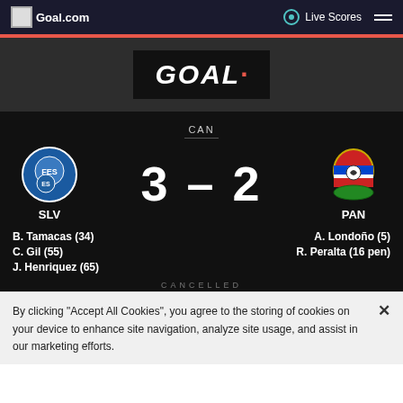Goal.com | Live Scores
[Figure (logo): Goal.com website logo with GOAL text in white italic bold on dark background]
CAN
3 - 2
SLV
PAN
B. Tamacas (34)
C. Gil (55)
J. Henriquez (65)
A. Londoño (5)
R. Peralta (16 pen)
CANCELLED
By clicking "Accept All Cookies", you agree to the storing of cookies on your device to enhance site navigation, analyze site usage, and assist in our marketing efforts.